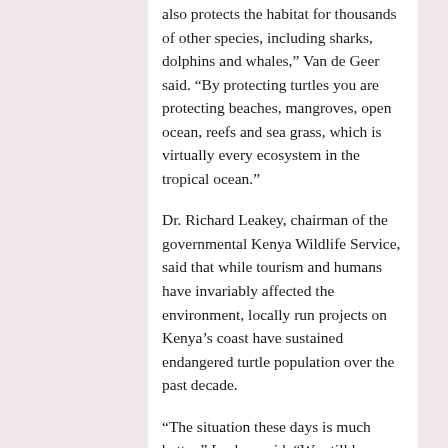also protects the habitat for thousands of other species, including sharks, dolphins and whales,” Van de Geer said. “By protecting turtles you are protecting beaches, mangroves, open ocean, reefs and sea grass, which is virtually every ecosystem in the tropical ocean.”
Dr. Richard Leakey, chairman of the governmental Kenya Wildlife Service, said that while tourism and humans have invariably affected the environment, locally run projects on Kenya’s coast have sustained endangered turtle population over the past decade.
“The situation these days is much better,” Leakey said. “We still have problems with turtles getting stuck in trawler nets but